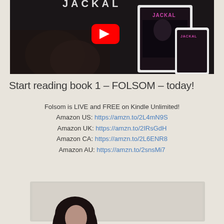[Figure (screenshot): YouTube video thumbnail showing the book 'Jackal' with a play button overlay and book cover images on tablet and phone]
Start reading book 1 – FOLSOM – today!
Folsom is LIVE and FREE on Kindle Unlimited!
Amazon US: https://amzn.to/2L4mN9S
Amazon UK: https://amzn.to/2IRsGdH
Amazon CA: https://amzn.to/2L6ENR8
Amazon AU: https://amzn.to/2snsMi7
[Figure (photo): Partial photo of a person at the bottom of the page]